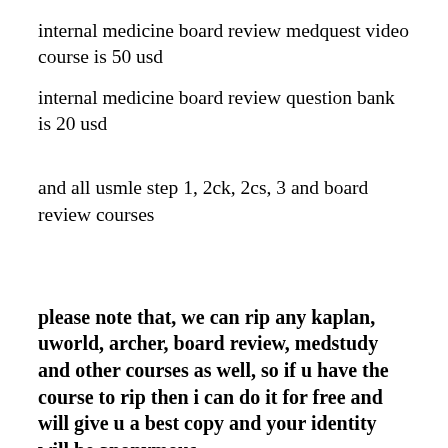internal medicine board review medquest video course is 50 usd
internal medicine board review question bank is 20 usd
and all usmle step 1, 2ck, 2cs, 3 and board review courses
please note that, we can rip any kaplan, uworld, archer, board review, medstudy  and other courses as well, so if u have the course to rip then i can do it for free and will give u a best copy and your identity will be anonymous.